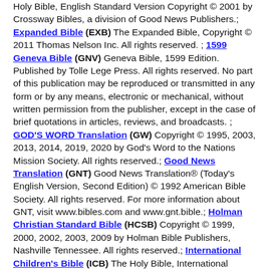Holy Bible, English Standard Version Copyright © 2001 by Crossway Bibles, a division of Good News Publishers.; Expanded Bible (EXB) The Expanded Bible, Copyright © 2011 Thomas Nelson Inc. All rights reserved. ; 1599 Geneva Bible (GNV) Geneva Bible, 1599 Edition. Published by Tolle Lege Press. All rights reserved. No part of this publication may be reproduced or transmitted in any form or by any means, electronic or mechanical, without written permission from the publisher, except in the case of brief quotations in articles, reviews, and broadcasts. ; GOD'S WORD Translation (GW) Copyright © 1995, 2003, 2013, 2014, 2019, 2020 by God's Word to the Nations Mission Society. All rights reserved.; Good News Translation (GNT) Good News Translation® (Today's English Version, Second Edition) © 1992 American Bible Society. All rights reserved. For more information about GNT, visit www.bibles.com and www.gnt.bible.; Holman Christian Standard Bible (HCSB) Copyright © 1999, 2000, 2002, 2003, 2009 by Holman Bible Publishers, Nashville Tennessee. All rights reserved.; International Children's Bible (ICB) The Holy Bible, International Children's Bible® Copyright© 1986, 1988, 1999, 2015 by Thomas Nelson. Used by permission.; International Standard Version (ISV) Copyright © 1995-2014 by ISV Foundation. ALL RIGHTS